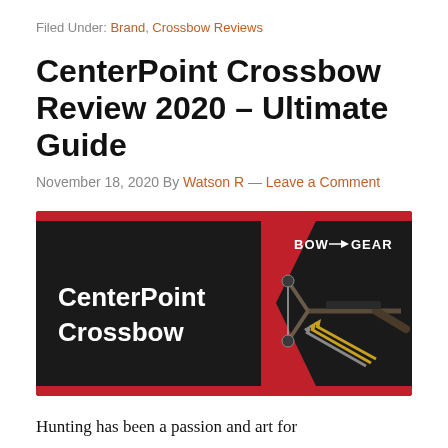Filed Under: Brand, Crossbow Reviews
CenterPoint Crossbow Review 2020 – Ultimate Guide
November 18, 2020 By Watson R — Leave a Comment
[Figure (photo): CenterPoint Crossbow promotional banner image with black and red background, showing a crossbow on the right side and 'CenterPoint Crossbow' text on the left, with 'BOW GEAR' logo in top right]
Hunting has been a passion and art for